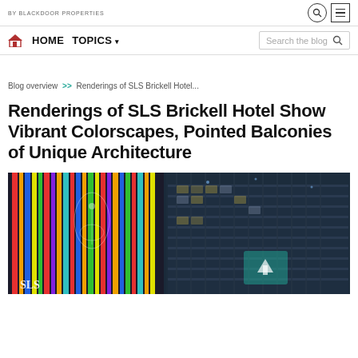BY BLACKDOOR PROPERTIES
HOME  TOPICS  Search the blog
Blog overview >> Renderings of SLS Brickell Hotel...
Renderings of SLS Brickell Hotel Show Vibrant Colorscapes, Pointed Balconies of Unique Architecture
[Figure (photo): Exterior photo/rendering of SLS Brickell Hotel showing colorful vertical stripe facade on left and modern glass balcony tower on right at dusk]